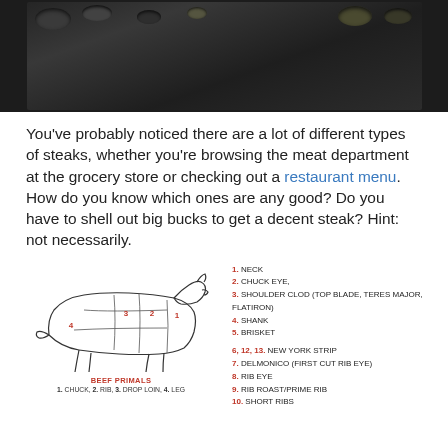[Figure (photo): Top-down dark background photo showing spices and ingredients in small bowls on a dark stone/slate surface]
You've probably noticed there are a lot of different types of steaks, whether you're browsing the meat department at the grocery store or checking out a restaurant menu. How do you know which ones are any good? Do you have to shell out big bucks to get a decent steak? Hint: not necessarily.
[Figure (illustration): Beef primal cuts diagram showing a side-view outline of a cow with numbered regions (1-4) labeled on different body sections. Numbered labels: 1. NECK, 2. CHUCK EYE, 3. SHOULDER CLOD (TOP BLADE, TERES MAJOR, FLATIRON), 4. SHANK, 5. BRISKET, 6,12,13. NEW YORK STRIP, 7. DELMONICO (FIRST CUT RIB EYE), 8. RIB EYE, 9. RIB ROAST/PRIME RIB, 10. SHORT RIBS. Caption: BEEF PRIMALS. 1. CHUCK, 2. RIB, 3. DROP LOIN, 4. LEG]